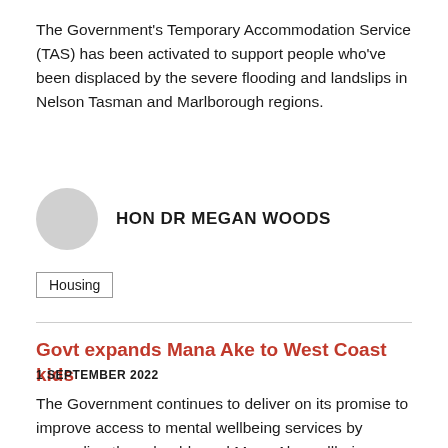The Government's Temporary Accommodation Service (TAS) has been activated to support people who've been displaced by the severe flooding and landslips in Nelson Tasman and Marlborough regions.
HON DR MEGAN WOODS
Housing
Govt expands Mana Ake to West Coast kids
1 SEPTEMBER 2022
The Government continues to deliver on its promise to improve access to mental wellbeing services by expanding the school-based Mana Ake wellbeing programme to more than three thousand primary and intermediate school-aged children living on the West Coast.